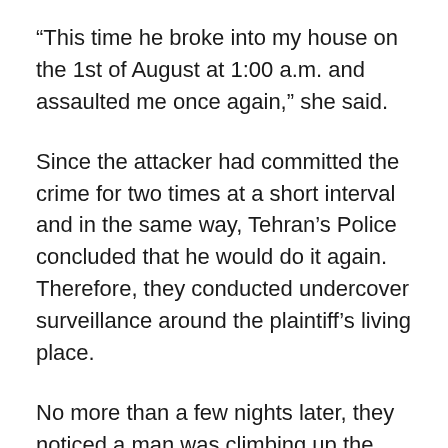“This time he broke into my house on the 1st of August at 1:00 a.m. and assaulted me once again,” she said.
Since the attacker had committed the crime for two times at a short interval and in the same way, Tehran’s Police concluded that he would do it again. Therefore, they conducted undercover surveillance around the plaintiff’s living place.
No more than a few nights later, they noticed a man was climbing up the wall of the woman’s house. He was arrested right away.